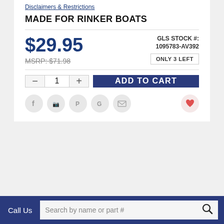Disclaimers & Restrictions
MADE FOR RINKER BOATS
$29.95
MSRP: $71.98
GLS STOCK #: 1095783-AV392
ONLY 3 LEFT
[Figure (screenshot): Quantity selector with minus button, quantity field showing 1, and plus button; followed by Add to Cart button]
[Figure (infographic): Social sharing icons: Facebook, Twitter, Pinterest, Google, Email, and a heart/favorite icon]
Call Us   Search by name or part #